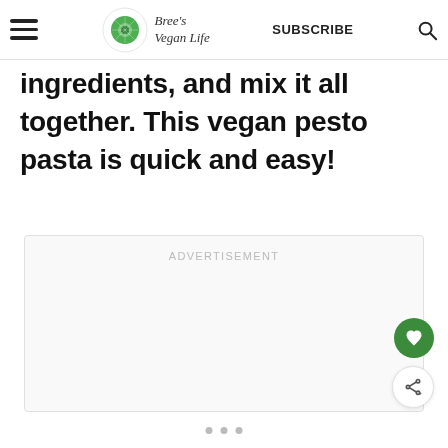Bree's Vegan Life — SUBSCRIBE
ingredients, and mix it all together. This vegan pesto pasta is quick and easy!
[Figure (other): Advertisement placeholder box with ADVERTISEMENT label]
Pagination dots